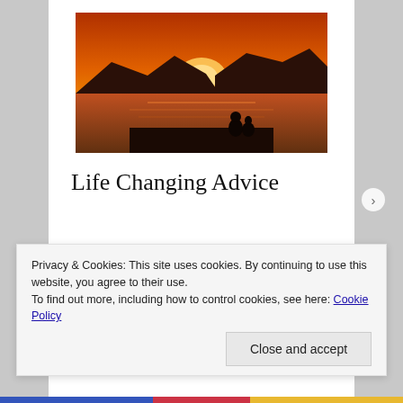[Figure (photo): Silhouette of a person sitting on a ledge playing guitar against an orange sunset sky with mountains and water in the background.]
Life Changing Advice
With only a few weeks left of spring courses at DePaul University in 2009, I was eager for the summer to arrive. Sitting in Global Marketing Management one morning, our class was interrupted. In came two of our professors from the
Privacy & Cookies: This site uses cookies. By continuing to use this website, you agree to their use.
To find out more, including how to control cookies, see here: Cookie Policy
Close and accept